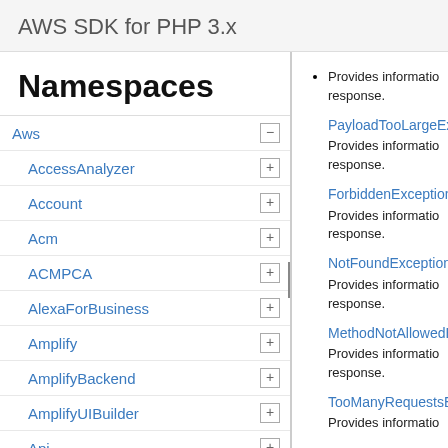AWS SDK for PHP 3.x
Namespaces
Aws
AccessAnalyzer
Account
Acm
ACMPCA
AlexaForBusiness
Amplify
AmplifyBackend
AmplifyUIBuilder
Api
ApiGateway
ApiGatewayManagementApi
PayloadTooLargeEx...
Provides information about the response.
ForbiddenException
Provides information about the response.
NotFoundException
Provides information about the response.
MethodNotAllowedE...
Provides information about the response.
TooManyRequestsE...
Provides information about the response.